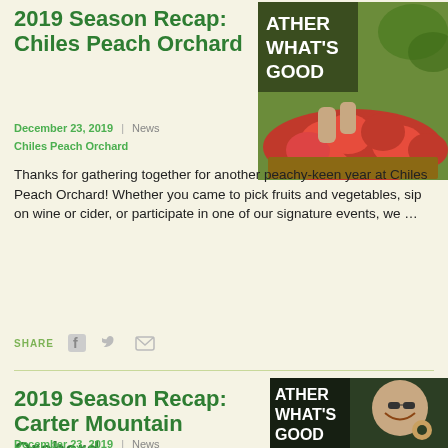2019 Season Recap: Chiles Peach Orchard
December 23, 2019  |  News
Chiles Peach Orchard
[Figure (photo): Photo of red apples/peaches in a box with 'Gather What's Good' signage]
Thanks for gathering together for another peachy-keen year at Chiles Peach Orchard! Whether you came to pick fruits and vegetables, sip on wine or cider, or participate in one of our signature events, we …
SHARE
2019 Season Recap: Carter Mountain Orchard
December 23, 2019  |  News
[Figure (photo): Photo of a smiling woman eating a donut with 'Gather What's Good' signage in background]